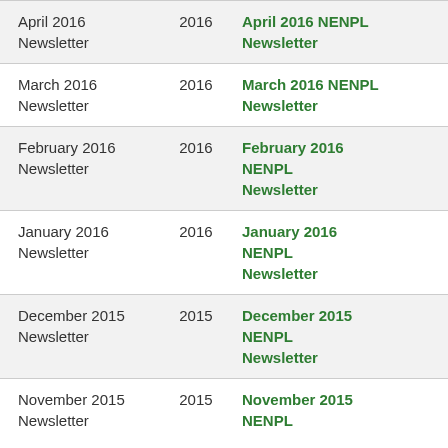| April 2016 Newsletter | 2016 | April 2016 NENPL Newsletter |
| March 2016 Newsletter | 2016 | March 2016 NENPL Newsletter |
| February 2016 Newsletter | 2016 | February 2016 NENPL Newsletter |
| January 2016 Newsletter | 2016 | January 2016 NENPL Newsletter |
| December 2015 Newsletter | 2015 | December 2015 NENPL Newsletter |
| November 2015 Newsletter | 2015 | November 2015 NENPL |